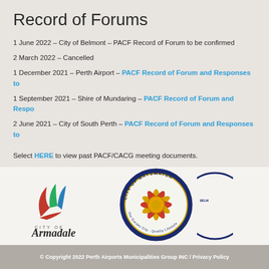Record of Forums
1 June 2022 – City of Belmont – PACF Record of Forum to be confirmed
2 March 2022 – Cancelled
1 December 2021 – Perth Airport – PACF Record of Forum and Responses to
1 September 2021 – Shire of Mundaring – PACF Record of Forum and Respo
2 June 2021 – City of South Perth – PACF Record of Forum and Responses to
Select HERE to view past PACF/CACG meeting documents.
[Figure (logo): City of Armadale logo with stylized book/wings graphic in red, green and blue, and text CITY OF Armadale]
[Figure (logo): City of Bayswater circular seal logo with sunflower/star design in red, yellow and navy, text The Garden City - Quality Lifestyle]
[Figure (logo): Partial logo, partially visible on right edge]
© Copyright 2022 Perth Airports Municipalities Group INC / Privacy Policy